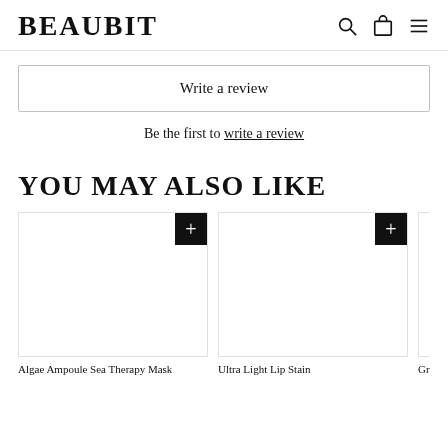BEAUBIT
Write a review
Be the first to write a review
YOU MAY ALSO LIKE
[Figure (other): Product cards row showing 'Algae Ampoule Sea Therapy Mask', 'Ultra Light Lip Stain', and partial 'Gray Salt H...' each with a black + add button]
Algae Ampoule Sea Therapy Mask
Ultra Light Lip Stain
Gray Salt H